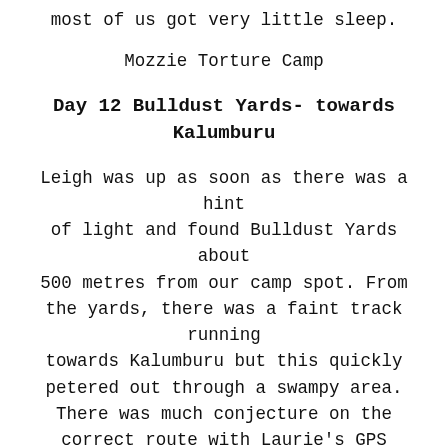most of us got very little sleep.
Mozzie Torture Camp
Day 12 Bulldust Yards- towards Kalumburu
Leigh was up as soon as there was a hint of light and found Bulldust Yards about 500 metres from our camp spot. From the yards, there was a faint track running towards Kalumburu but this quickly petered out through a swampy area. There was much conjecture on the correct route with Laurie's GPS suggesting one way and Leigh keen to follow the direction of the original track. After proceeding cross country through